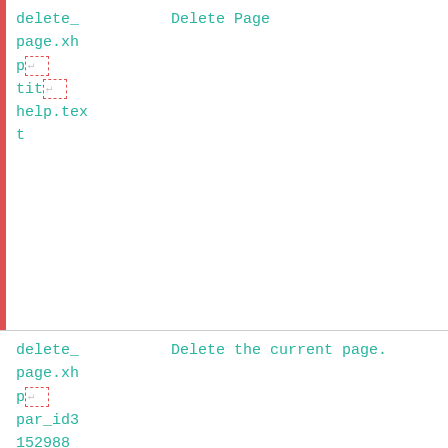| File | Content |
| --- | --- |
| delete_
page.xh
p
tit
help.tex
t | Delete Page |
| delete_
page.xh
p
hd_id31
50202
help.tex
t | <link href="text/sdraw/01/delete_page.xhp"
name="Delete Page">Delete Page</link> |
| delete_
page.xh
p
par_id3
152988 | Delete the current page. |